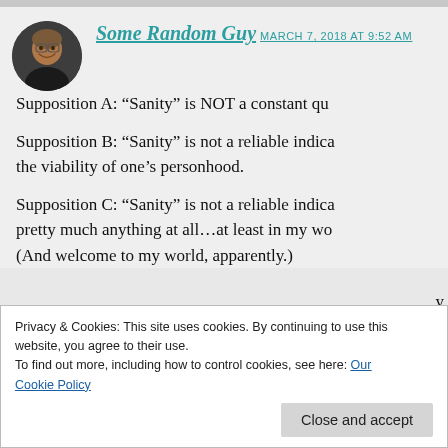[Figure (photo): Circular avatar photo of a person, appears to be an older individual smiling, wearing dark clothing, against a dark background.]
Some Random Guy
MARCH 7, 2018 AT 9:52 AM
Supposition A: “Sanity” is NOT a constant qu…
Supposition B: “Sanity” is not a reliable indica… the viability of one’s personhood.
Supposition C: “Sanity” is not a reliable indica… pretty much anything at all…at least in my wo… (And welcome to my world, apparently.)
Privacy & Cookies: This site uses cookies. By continuing to use this website, you agree to their use.
To find out more, including how to control cookies, see here: Our Cookie Policy
Close and accept
years and years ago some friends awoke in the…